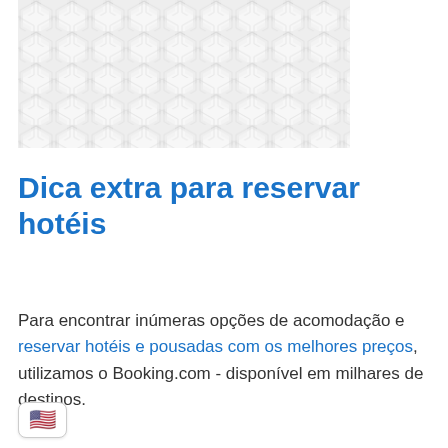[Figure (photo): Decorative honeycomb/diamond pattern texture image in light grey and white tones]
Dica extra para reservar hotéis
Para encontrar inúmeras opções de acomodação e reservar hotéis e pousadas com os melhores preços, utilizamos o Booking.com - disponível em milhares de destinos.
[Figure (illustration): US flag emoji icon inside a rounded white box with border shadow]